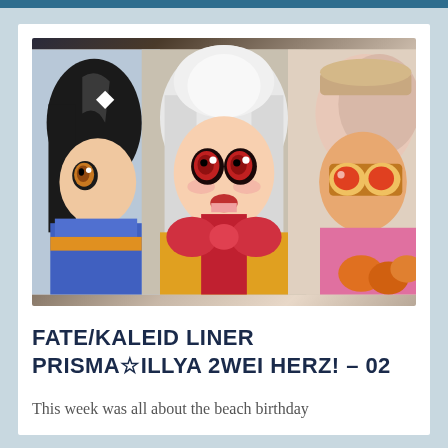[Figure (illustration): Anime screenshot showing three anime-style girl characters with large eyes. The center character has white/silver hair and red eyes with mouth open, holding a large red and yellow gift/present. Left character has dark hair and orange eyes wearing blue outfit. Right character with pink/light hair wearing pink outfit is partially visible on right edge.]
FATE/KALEID LINER PRISMA☆ILLYA 2WEI HERZ! – 02
This week was all about the beach birthday